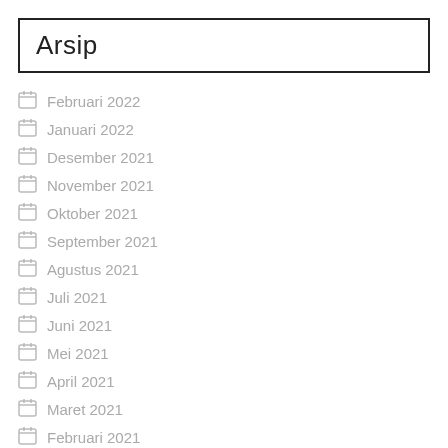Arsip
Februari 2022
Januari 2022
Desember 2021
November 2021
Oktober 2021
September 2021
Agustus 2021
Juli 2021
Juni 2021
Mei 2021
April 2021
Maret 2021
Februari 2021
Januari 2021
Desember 2020
November 2020
Oktober 2020